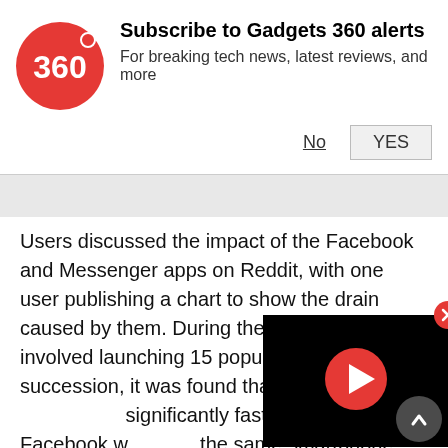Subscribe to Gadgets 360 alerts
For breaking tech news, latest reviews, and more
Users discussed the impact of the Facebook and Messenger apps on Reddit, with one user publishing a chart to show the drain caused by them. During the user tests that involved launching 15 popular apps in succession, it was found that each app opened significantly faster when Facebook was not on the same smartphone.
[Figure (screenshot): Black video player overlay with red play button and red X close button]
"So yeah, I think that settles it for me... I am joining the browser-app camp for now," a Reddit user posted.